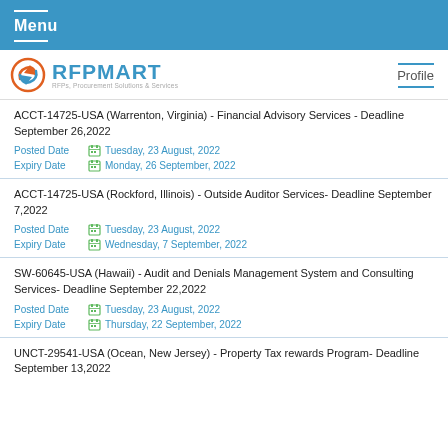Menu
[Figure (logo): RFPMART logo with tagline 'RFPs, Procurement Solutions & Services' and Profile link]
ACCT-14725-USA (Warrenton, Virginia) - Financial Advisory Services - Deadline September 26,2022
Posted Date: Tuesday, 23 August, 2022
Expiry Date: Monday, 26 September, 2022
ACCT-14725-USA (Rockford, Illinois) - Outside Auditor Services- Deadline September 7,2022
Posted Date: Tuesday, 23 August, 2022
Expiry Date: Wednesday, 7 September, 2022
SW-60645-USA (Hawaii) - Audit and Denials Management System and Consulting Services- Deadline September 22,2022
Posted Date: Tuesday, 23 August, 2022
Expiry Date: Thursday, 22 September, 2022
UNCT-29541-USA (Ocean, New Jersey) - Property Tax rewards Program- Deadline September 13,2022